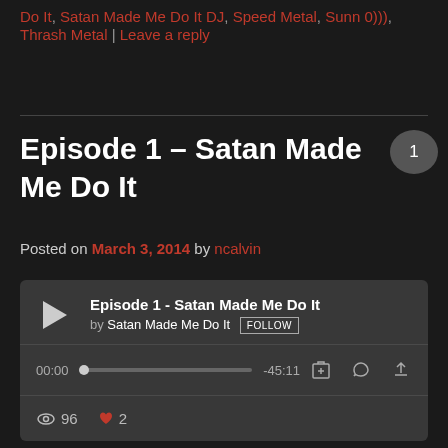Do It, Satan Made Me Do It DJ, Speed Metal, Sunn 0))), Thrash Metal | Leave a reply
Episode 1 – Satan Made Me Do It
Posted on March 3, 2014 by ncalvin
[Figure (screenshot): Embedded audio player showing Episode 1 - Satan Made Me Do It by Satan Made Me Do It, with play button, progress bar (00:00 to -45:11), and stats (96 listens, 2 likes)]